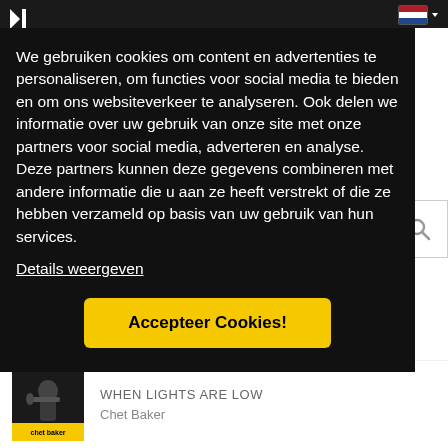We gebruiken cookies om content en advertenties te personaliseren, om functies voor social media te bieden en om ons websiteverkeer te analyseren. Ook delen we informatie over uw gebruik van onze site met onze partners voor social media, adverteren en analyse. Deze partners kunnen deze gegevens combineren met andere informatie die u aan ze heeft verstrekt of die ze hebben verzameld op basis van uw gebruik van hun services.
Details weergeven
Accepteer Cookies!
[Figure (photo): Album cover of 'When Lights Are Low' by Chet Baker, showing a black and white photo of Chet Baker playing trumpet]
WHEN LIGHTS ARE LOW
Chet Baker